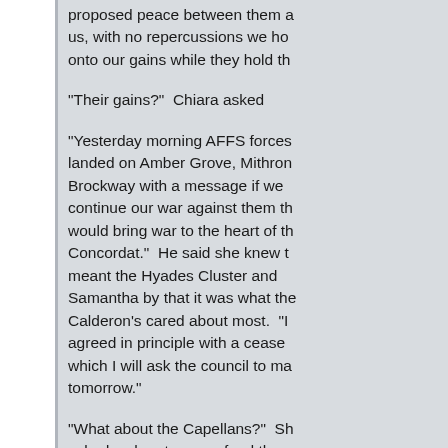proposed peace between them a us, with no repercussions we ho onto our gains while they hold th
"Their gains?"  Chiara asked
"Yesterday morning AFFS forces landed on Amber Grove, Mithron Brockway with a message if we continue our war against them th would bring war to the heart of th Concordat."  He said she knew t meant the Hyades Cluster and Samantha by that it was what the Calderon's cared about most.  "I agreed in principle with a cease which I will ask the council to ma tomorrow."
"What about the Capellans?"  Sh asked as he ate some food the Protector looked up some mashe potato stuck to his lower lip.  She